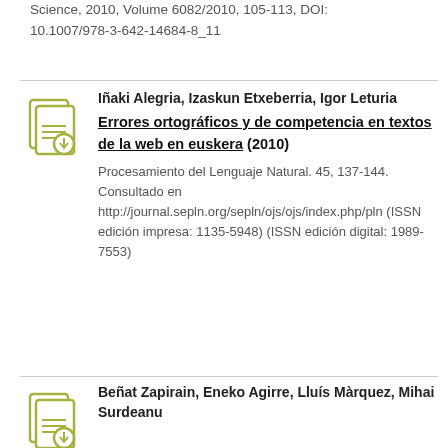Science, 2010, Volume 6082/2010, 105-113, DOI: 10.1007/978-3-642-14684-8_11
Iñaki Alegria, Izaskun Etxeberria, Igor Leturia
Errores ortográficos y de competencia en textos de la web en euskera (2010)
Procesamiento del Lenguaje Natural. 45, 137-144. Consultado en http://journal.sepln.org/sepln/ojs/ojs/index.php/pln (ISSN edición impresa: 1135-5948) (ISSN edición digital: 1989-7553)
Beñat Zapirain, Eneko Agirre, Lluís Màrquez, Mihai Surdeanu